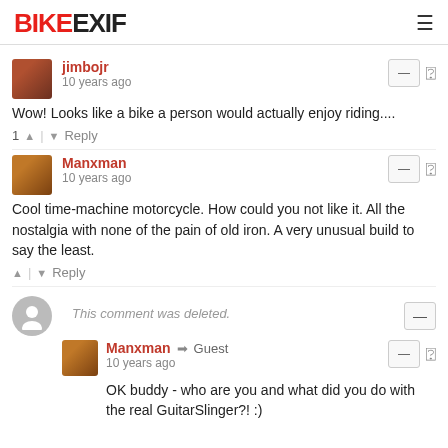BIKEEXIF
jimbojr
10 years ago
Wow! Looks like a bike a person would actually enjoy riding....
1 ↑ | ↓ Reply
Manxman
10 years ago
Cool time-machine motorcycle. How could you not like it. All the nostalgia with none of the pain of old iron. A very unusual build to say the least.
↑ | ↓ Reply
This comment was deleted.
Manxman → Guest
10 years ago
OK buddy - who are you and what did you do with the real GuitarSlinger?! :)